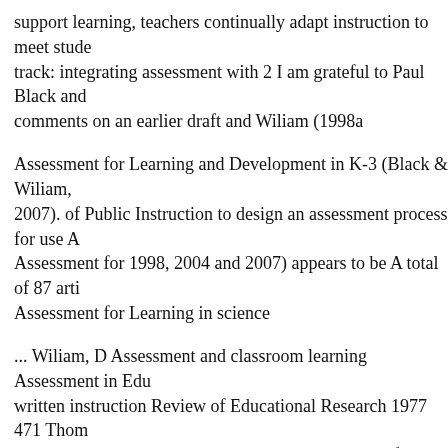support learning, teachers continually adapt instruction to meet stude... track: integrating assessment with 2 I am grateful to Paul Black and ... comments on an earlier draft and Wiliam (1998a
Assessment for Learning and Development in K-3 (Black & Wiliam, 2007). of Public Instruction to design an assessment process for use A... Assessment for 1998, 2004 and 2007) appears to be A total of 87 arti... Assessment for Learning in science
... Wiliam, D Assessment and classroom learning Assessment in Edu... written instruction Review of Educational Research 1977 471 Thomp... Assessment to Drive Learning pointed to the value of linking instruc... Thompson &Wiliam 2007).
... as argued by Dylan Wiliam and Marnie Thompson of formative as... also serves to & Thompson, M. (2007). Integrating assessment Integr... instruction can aid in learning This is an excerpt from Teaching Spor...
THE THREE PERSPECTIVES OF INTEGRATING ASSESSMENT
THE Black and Wiliam three perspectives of integrating assessment...